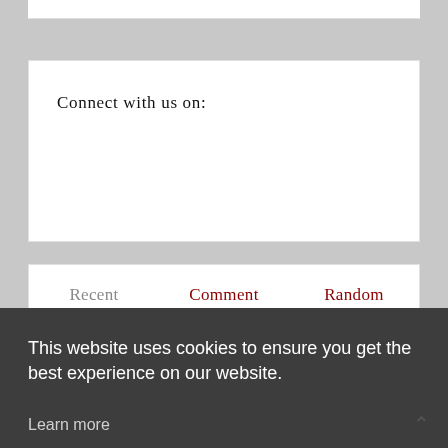Connect with us on:
Recent	Comment	Random
This website uses cookies to ensure you get the best experience on our website. Learn more
Got it!